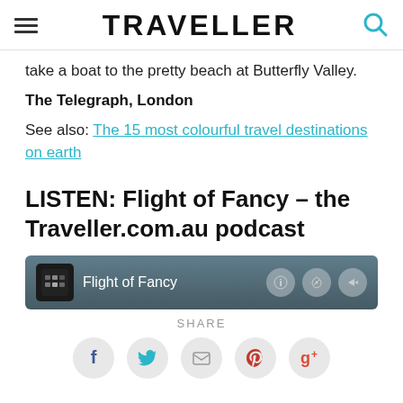TRAVELLER
take a boat to the pretty beach at Butterfly Valley.
The Telegraph, London
See also: The 15 most colourful travel destinations on earth
LISTEN: Flight of Fancy – the Traveller.com.au podcast
[Figure (screenshot): Podcast player widget showing Flight of Fancy podcast with info, podcast, and share control buttons]
SHARE
[Figure (infographic): Social sharing buttons: Facebook, Twitter, Email, Pinterest, Google+]